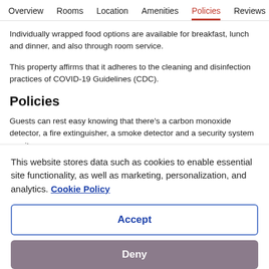Overview  Rooms  Location  Amenities  Policies  Reviews
Individually wrapped food options are available for breakfast, lunch and dinner, and also through room service.
This property affirms that it adheres to the cleaning and disinfection practices of COVID-19 Guidelines (CDC).
Policies
Guests can rest easy knowing that there’s a carbon monoxide detector, a fire extinguisher, a smoke detector and a security system on site.
This website stores data such as cookies to enable essential site functionality, as well as marketing, personalization, and analytics. Cookie Policy
Accept
Deny